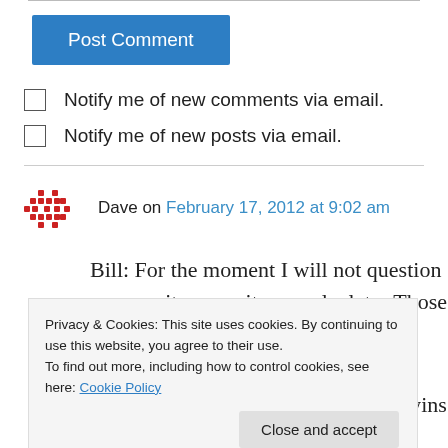Post Comment
Notify me of new comments via email.
Notify me of new posts via email.
Dave on February 17, 2012 at 9:02 am
Bill: For the moment I will not question your sanity, veracity, or calculator.Those dispersions
Privacy & Cookies: This site uses cookies. By continuing to use this website, you agree to their use.
To find out more, including how to control cookies, see here: Cookie Policy
Close and accept
Steve Young gets credit for two SB wins that he